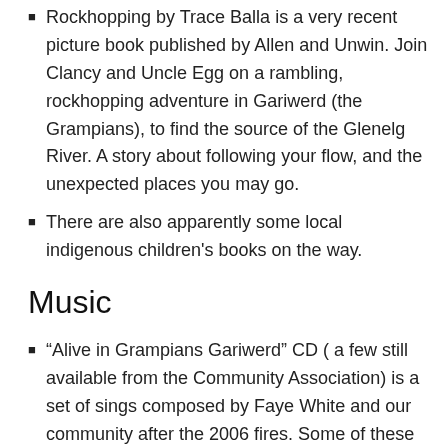Rockhopping by Trace Balla is a very recent picture book published by Allen and Unwin. Join Clancy and Uncle Egg on a rambling, rockhopping adventure in Gariwerd (the Grampians), to find the source of the Glenelg River. A story about following your flow, and the unexpected places you may go.
There are also apparently some local indigenous children's books on the way.
Music
“Alive in Grampians Gariwerd” CD ( a few still available from the Community Association) is a set of sings composed by Faye White and our community after the 2006 fires. Some of these songs are also on Faye White’s CD “These people, this place: everyday grace.”